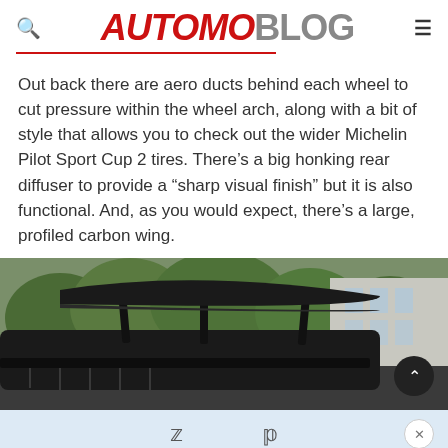AUTOMOBLOG
Out back there are aero ducts behind each wheel to cut pressure within the wheel arch, along with a bit of style that allows you to check out the wider Michelin Pilot Sport Cup 2 tires. There's a big honking rear diffuser to provide a “sharp visual finish” but it is also functional. And, as you would expect, there's a large, profiled carbon wing.
[Figure (photo): Rear view of a sports car showing a large carbon fiber wing, with trees and a building in the background.]